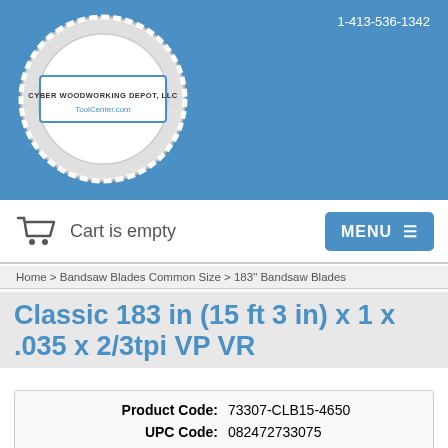[Figure (logo): Cyber Woodworking Depot LLC logo with gear/saw blade circle and ToolCenter.com text, on blue background]
1-413-536-1342
Cart is empty
MENU ≡
Home > Bandsaw Blades Common Size > 183" Bandsaw Blades
Classic 183 in (15 ft 3 in) x 1 x .035 x 2/3tpi VP VR
| Product Code: | 73307-CLB15-4650 |
| UPC Code: | 082472733075 |
| Quantity In Basket: | None |
| Manufacturer: | Lenox |
★★★★★
0 reviews